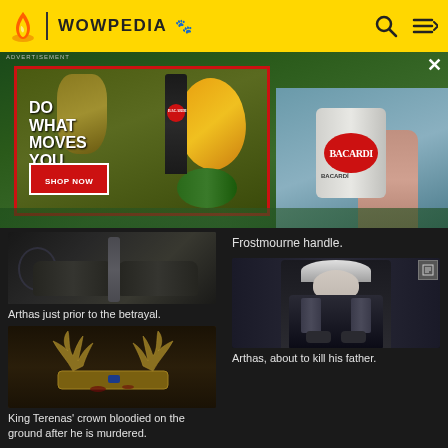WOWPEDIA
[Figure (photo): Advertisement banner for Bacardi featuring tropical fruits and a Bacardi bottle with text 'DO WHAT MOVES YOU' and 'SHOP NOW' button, plus a Bacardi can photo]
[Figure (photo): Arthas's gauntleted hands gripping Frostmourne handle, dark fantasy game screenshot]
Arthas just prior to the betrayal.
[Figure (photo): King Terenas' bloodied crown lying on the ground]
King Terenas' crown bloodied on the ground after he is murdered.
Frostmourne handle.
[Figure (photo): Arthas in dark armor with white hair, about to kill his father]
Arthas, about to kill his father.